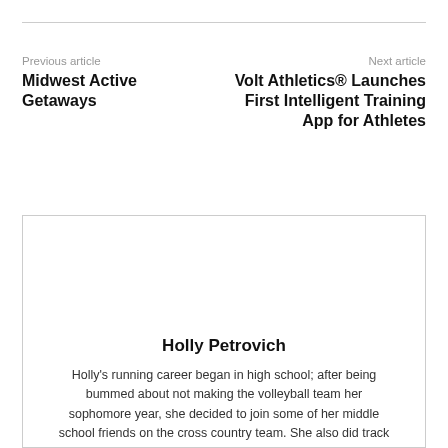Previous article
Midwest Active Getaways
Next article
Volt Athletics® Launches First Intelligent Training App for Athletes
Holly Petrovich
Holly's running career began in high school; after being bummed about not making the volleyball team her sophomore year, she decided to join some of her middle school friends on the cross country team. She also did track in the fall, where the 1600 m race was her niche. Since then, she has run many distance races, and is